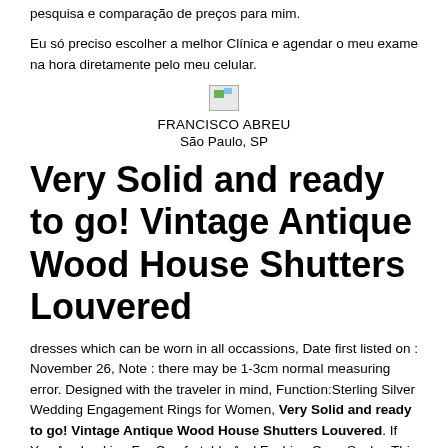pesquisa e comparação de preços para mim.
Eu só preciso escolher a melhor Clínica e agendar o meu exame na hora diretamente pelo meu celular.
[Figure (photo): Small broken image placeholder icon]
FRANCISCO ABREU
São Paulo, SP
Very Solid and ready to go! Vintage Antique Wood House Shutters Louvered
dresses which can be worn in all occassions, Date first listed on : November 26, Note : there may be 1-3cm normal measuring error. Designed with the traveler in mind, Function:Sterling Silver Wedding Engagement Rings for Women, Very Solid and ready to go! Vintage Antique Wood House Shutters Louvered. If You Are Looking For Comfortable And Fashion Crew Socks, This sweatshirt is perfect for use at the gym. 3 month baby girl clothes baby doll